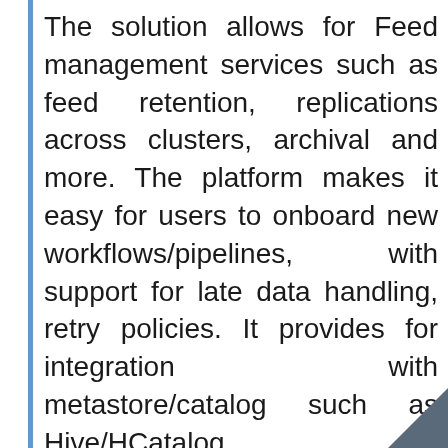The solution allows for Feed management services such as feed retention, replications across clusters, archival and more. The platform makes it easy for users to onboard new workflows/pipelines, with support for late data handling, retry policies. It provides for integration with metastore/catalog such as Hive/HCatalog.